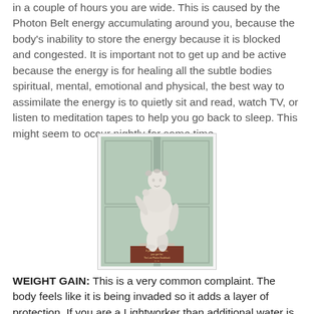in a couple of hours you are wide. This is caused by the Photon Belt energy accumulating around you, because the body's inability to store the energy because it is blocked and congested. It is important not to get up and be active because the energy is for healing all the subtle bodies spiritual, mental, emotional and physical, the best way to assimilate the energy is to quietly sit and read, watch TV, or listen to meditation tapes to help you go back to sleep. This might seem to occur nightly for some time.
[Figure (photo): A humorous photoshopped image of Michelangelo's David statue modified to appear overweight, standing on a brown plaque, displayed in a museum-like setting with green paneled walls.]
WEIGHT GAIN: This is a very common complaint. The body feels like it is being invaded so it adds a layer of protection. If you are a Lightworker than additional water is needed to